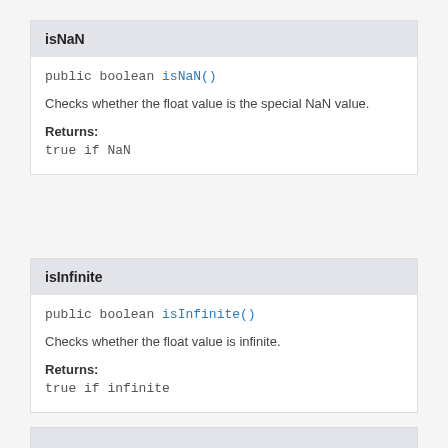isNaN
public boolean isNaN()
Checks whether the float value is the special NaN value.
Returns:
true if NaN
isInfinite
public boolean isInfinite()
Checks whether the float value is infinite.
Returns:
true if infinite